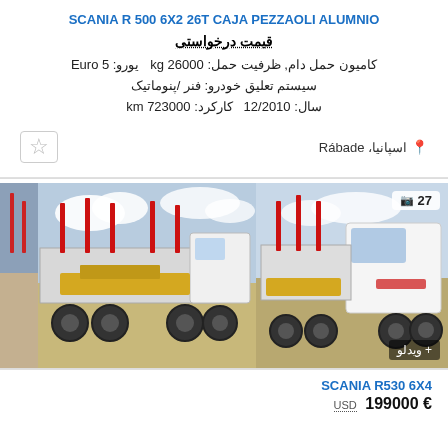SCANIA R 500 6X2 26T CAJA PEZZAOLI ALUMNIO
قیمت درخواستی
کامیون حمل دام, ظرفیت حمل: kg 26000  یورو: Euro 5
سیستم تعلیق خودرو: فنر /پنوماتیک
سال: 12/2010  کارکرد: km 723000
📍 اسپانیا، Rábade
[Figure (photo): Side view of a Scania timber/livestock truck with red stakes and yellow machinery, white cab, multiple axles, outdoor setting]
[Figure (photo): Front-side view of the same Scania truck showing cab and equipment, with photo counter showing camera icon and 27]
SCANIA R530 6X4
USD  199000 €